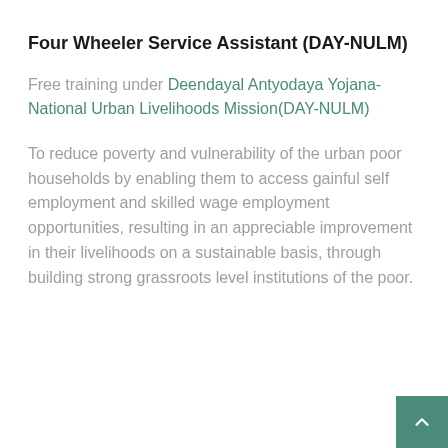Four Wheeler Service Assistant (DAY-NULM)
Free training under Deendayal Antyodaya Yojana-National Urban Livelihoods Mission(DAY-NULM)
To reduce poverty and vulnerability of the urban poor households by enabling them to access gainful self employment and skilled wage employment opportunities, resulting in an appreciable improvement in their livelihoods on a sustainable basis, through building strong grassroots level institutions of the poor.